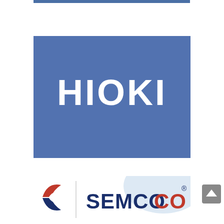[Figure (logo): HIOKI logo: white bold text 'HIOKI' centered on a medium-blue square background]
[Figure (logo): SEMCO logo: dark navy bold text 'SEMCO' with registered trademark symbol, red and blue swoosh bird icon on left, light blue curved design element in background, white background]